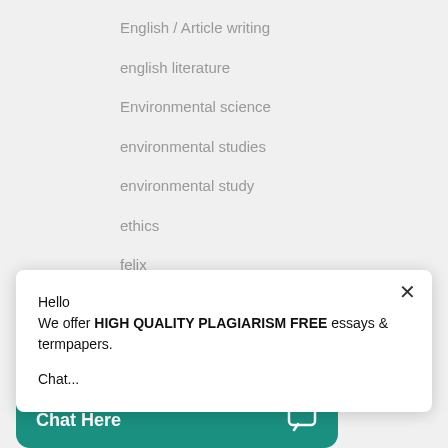English / Article writing
english literature
Environmental science
environmental studies
environmental study
ethics
felix
Hello
We offer HIGH QUALITY PLAGIARISM FREE essays & termpapers.

Chat...
Chat Here